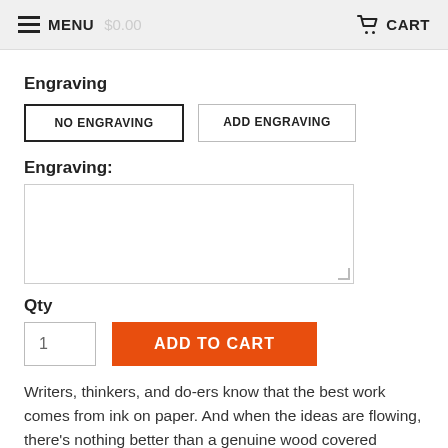MENU  CART
Engraving
NO ENGRAVING  ADD ENGRAVING
Engraving:
Qty
1  ADD TO CART
Writers, thinkers, and do-ers know that the best work comes from ink on paper. And when the ideas are flowing, there's nothing better than a genuine wood covered